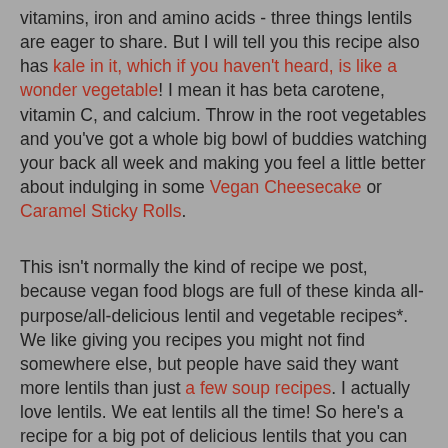vitamins, iron and amino acids - three things lentils are eager to share. But I will tell you this recipe also has kale in it, which if you haven't heard, is like a wonder vegetable! I mean it has beta carotene, vitamin C, and calcium. Throw in the root vegetables and you've got a whole big bowl of buddies watching your back all week and making you feel a little better about indulging in some Vegan Cheesecake or Caramel Sticky Rolls.
This isn't normally the kind of recipe we post, because vegan food blogs are full of these kinda all-purpose/all-delicious lentil and vegetable recipes*. We like giving you recipes you might not find somewhere else, but people have said they want more lentils than just a few soup recipes. I actually love lentils. We eat lentils all the time! So here's a recipe for a big pot of delicious lentils that you can cook up Sunday night and enjoy for your lunch all week over rice or alone. I suggest eating it with some whole wheat toast, a glass of iced tea and a loved one because if you really loved them - you feed them lentils.